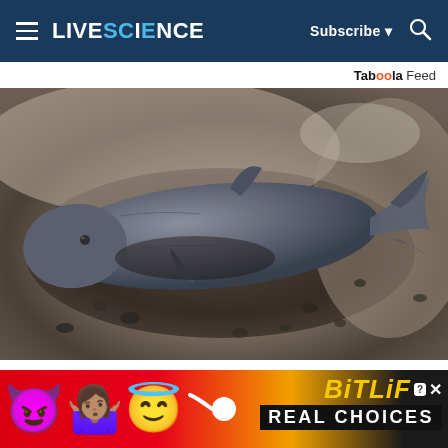LIVE SCIENCE — Subscribe | Search
Taboola Feed
[Figure (photo): A large Greenland shark lying on dark sandy beach, grey-blue colored body, seen from above and side.]
100-year-old Greenland shark that washed
[Figure (infographic): BitLife advertisement banner with devil emoji, woman shrugging emoji, angel emoji, sperm emoji, BitLife logo in yellow italic text, REAL CHOICES text on black background.]